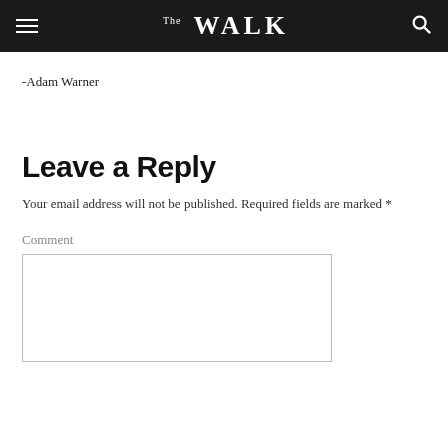The WALK
-Adam Warner
Leave a Reply
Your email address will not be published. Required fields are marked *
Comment